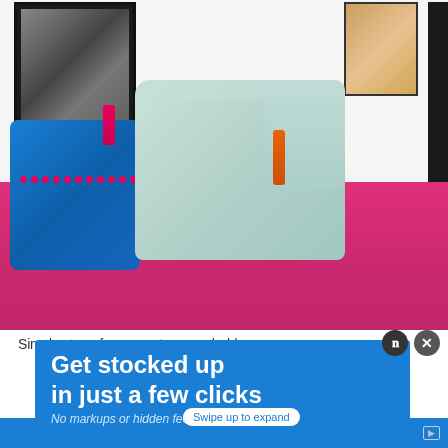[Figure (photo): A light mint-green sewing machine on a hot pink fabric-covered table, with a bright blue decorative pillow with pink pom-pom stitching and a pink tassel, framed artwork on the white wall behind, and sewing supplies scattered on the table.]
Simple steps for a new teenage hobby
[Figure (screenshot): Advertisement overlay reading 'Get stocked up in just a few clicks' with subtext 'No markups or hidden fees.' and a 'Swipe up to expand' button, on a blue background. Overlaid on page content with close (x) and info (p) buttons.]